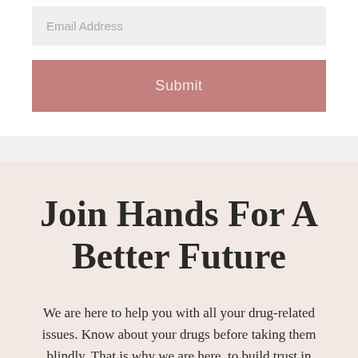[Figure (screenshot): Email address input field with placeholder text 'Email Address' on a light gray background]
[Figure (screenshot): Submit button with dusty rose/mauve background color and white text 'Submit']
Join Hands For A Better Future
We are here to help you with all your drug-related issues. Know about your drugs before taking them blindly. That is why we are here, to build trust in